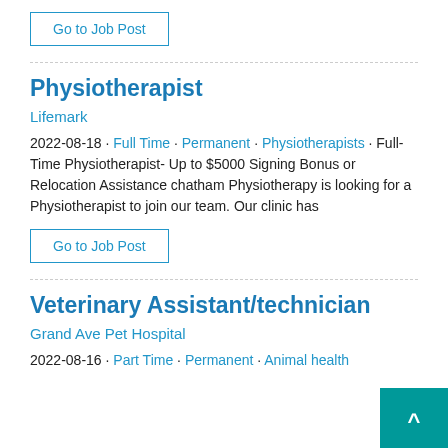Go to Job Post
Physiotherapist
Lifemark
2022-08-18 · Full Time · Permanent · Physiotherapists · Full-Time Physiotherapist- Up to $5000 Signing Bonus or Relocation Assistance chatham Physiotherapy is looking for a Physiotherapist to join our team. Our clinic has
Go to Job Post
Veterinary Assistant/technician
Grand Ave Pet Hospital
2022-08-16 · Part Time · Permanent · Animal health